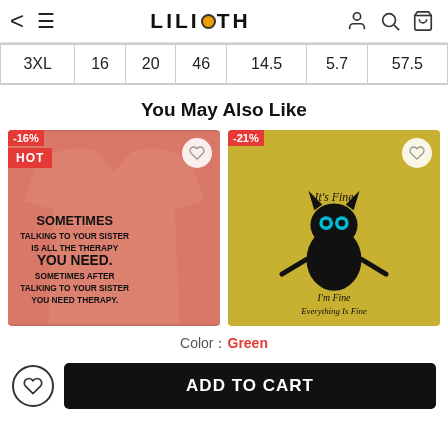LILICLOTH
| 3XL | 16 | 20 | 46 | 14.5 | 5.7 | 57.5 |
| --- | --- | --- | --- | --- | --- | --- |
| 3XL | 16 | 20 | 46 | 14.5 | 5.7 | 57.5 |
You May Also Like
[Figure (photo): Pink t-shirt with text: SOMETIMES TALKING TO YOUR SISTER IS ALL THE THERAPY YOU NEED. SOMETIMES AFTER TALKING TO YOUR SISTER YOU NEED THERAPY. Badge shows -16% and HOT.]
[Figure (photo): Yellow t-shirt with black cat graphic and text: It's Fine I'm Fine Everything Is Fine. Badge shows -21%.]
Color: Green
ADD TO CART